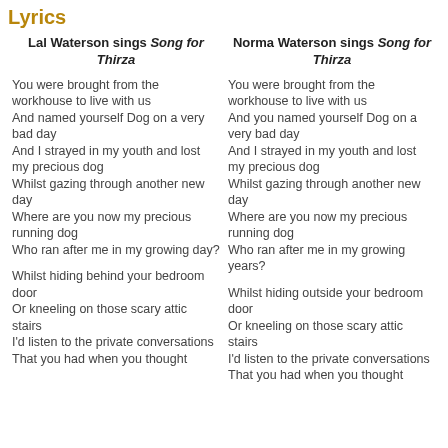Lyrics
Lal Waterson sings Song for Thirza
Norma Waterson sings Song for Thirza
You were brought from the workhouse to live with us
And named yourself Dog on a very bad day
And I strayed in my youth and lost my precious dog
Whilst gazing through another new day
Where are you now my precious running dog
Who ran after me in my growing day?
You were brought from the workhouse to live with us
And you named yourself Dog on a very bad day
And I strayed in my youth and lost my precious dog
Whilst gazing through another new day
Where are you now my precious running dog
Who ran after me in my growing years?
Whilst hiding behind your bedroom door
Or kneeling on those scary attic stairs
I'd listen to the private conversations
That you had when you thought
Whilst hiding outside your bedroom door
Or kneeling on those scary attic stairs
I'd listen to the private conversations
That you had when you thought